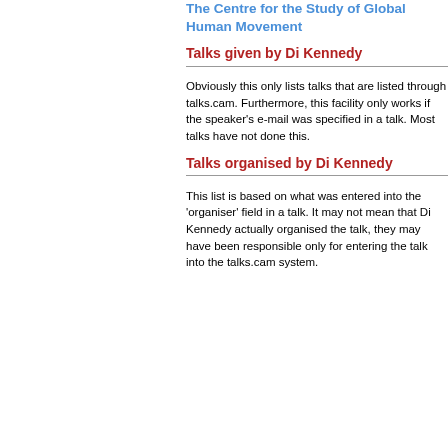The Centre for the Study of Global Human Movement
Talks given by Di Kennedy
Obviously this only lists talks that are listed through talks.cam. Furthermore, this facility only works if the speaker's e-mail was specified in a talk. Most talks have not done this.
Talks organised by Di Kennedy
This list is based on what was entered into the 'organiser' field in a talk. It may not mean that Di Kennedy actually organised the talk, they may have been responsible only for entering the talk into the talks.cam system.